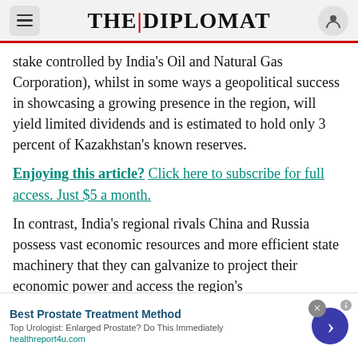THE DIPLOMAT
stake controlled by India's Oil and Natural Gas Corporation), whilst in some ways a geopolitical success in showcasing a growing presence in the region, will yield limited dividends and is estimated to hold only 3 percent of Kazakhstan's known reserves.
Enjoying this article? Click here to subscribe for full access. Just $5 a month.
In contrast, India's regional rivals China and Russia possess vast economic resources and more efficient state machinery that they can galvanize to project their economic power and access the region's
Best Prostate Treatment Method
Top Urologist: Enlarged Prostate? Do This Immediately
healthreport4u.com